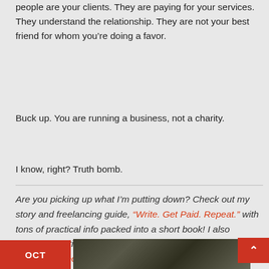people are your clients. They are paying for your services. They understand the relationship. They are not your best friend for whom you're doing a favor.
Buck up. You are running a business, not a charity.
I know, right? Truth bomb.
Are you picking up what I'm putting down? Check out my story and freelancing guide, "Write. Get Paid. Repeat." with tons of practical info packed into a short book! I also created a writing course called "How to Write a Book in 3 Months." Check it out here!
[Figure (photo): Dark thumbnail image at bottom of page, partially visible, showing an outdoor scene]
OCT